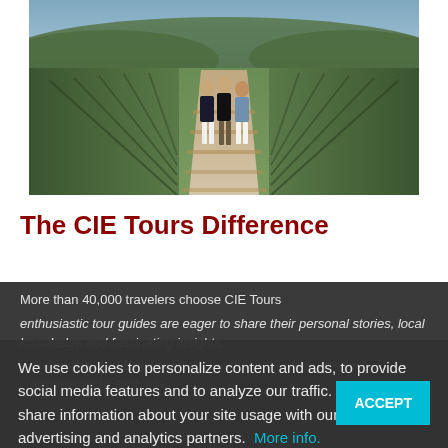[Figure (photo): Three people walking through a vineyard on a sunny day, with rows of grapevines on either side and green hills in the background.]
The CIE Tours Difference
More than 40,000 travelers choose CIE Tours
enthusiastic tour guides are eager to share their personal stories, local knowledge and fascinating insights.
Reliability and Experience: They bring 88 years of travel experience to each trip
We use cookies to personalize content and ads, to provide social media features and to analyze our traffic. We also share information about your site usage with our social media, advertising and analytics partners. More info.